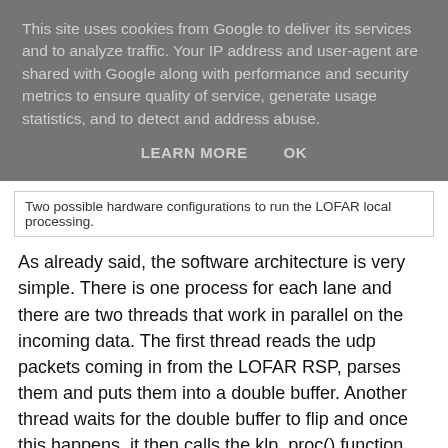This site uses cookies from Google to deliver its services and to analyze traffic. Your IP address and user-agent are shared with Google along with performance and security metrics to ensure quality of service, generate usage statistics, and to detect and address abuse.
LEARN MORE    OK
Two possible hardware configurations to run the LOFAR local processing.
As already said, the software architecture is very simple. There is one process for each lane and there are two threads that work in parallel on the incoming data. The first thread reads the udp packets coming in from the LOFAR RSP, parses them and puts them into a double buffer. Another thread waits for the double buffer to flip and once this happens, it then calls the klp_proc() function that processes the contents of the buffer. All of the underlying threading and synchronization is hidden away from the user, who only has to implement klp_proc().